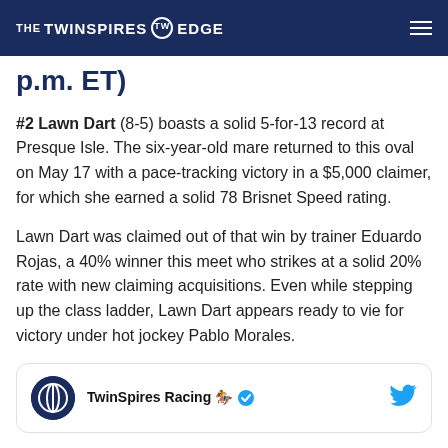THE TWINSPIRES EDGE
p.m. ET)
#2 Lawn Dart (8-5) boasts a solid 5-for-13 record at Presque Isle. The six-year-old mare returned to this oval on May 17 with a pace-tracking victory in a $5,000 claimer, for which she earned a solid 78 Brisnet Speed rating.
Lawn Dart was claimed out of that win by trainer Eduardo Rojas, a 40% winner this meet who strikes at a solid 20% rate with new claiming acquisitions. Even while stepping up the class ladder, Lawn Dart appears ready to vie for victory under hot jockey Pablo Morales.
[Figure (other): TwinSpires Racing Twitter card with logo, handle name, jockey emoji, verified badge, and Twitter bird icon]